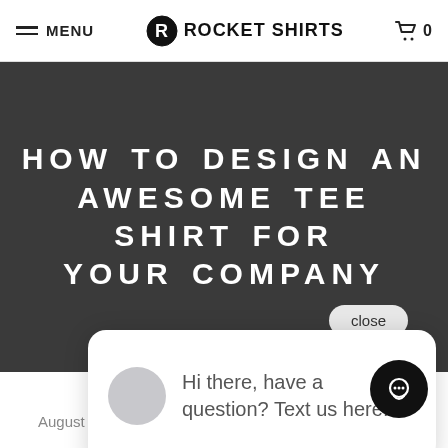MENU | ROCKET SHIRTS | 0
HOW TO DESIGN AN AWESOME TEE SHIRT FOR YOUR COMPANY
[Figure (screenshot): Chat popup widget showing a speech bubble with avatar and text 'Hi there, have a question? Text us here.' with a close button and chat icon button.]
August 14, 2019